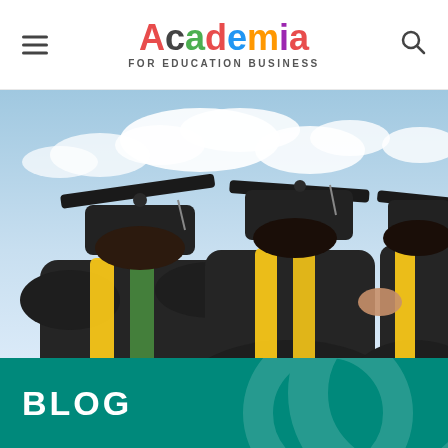Academia FOR EDUCATION BUSINESS
[Figure (photo): Three graduates from behind wearing black caps and gowns with yellow sashes, against a blue sky with clouds.]
BLOG